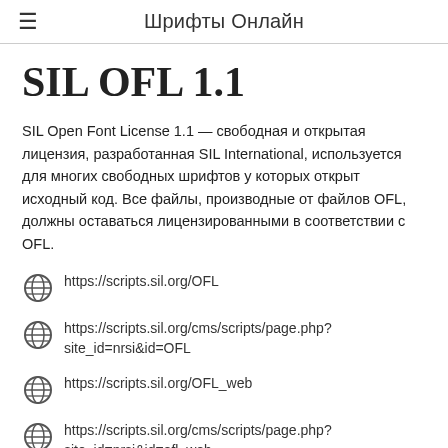Шрифты Онлайн
SIL OFL 1.1
SIL Open Font License 1.1 — свободная и открытая лицензия, разработанная SIL International, используется для многих свободных шрифтов у которых открыт исходный код. Все файлы, производные от файлов OFL, должны оставаться лицензированными в соответствии с OFL.
https://scripts.sil.org/OFL
https://scripts.sil.org/cms/scripts/page.php?site_id=nrsi&id=OFL
https://scripts.sil.org/OFL_web
https://scripts.sil.org/cms/scripts/page.php?site_id=nrsi&id=ofl_web